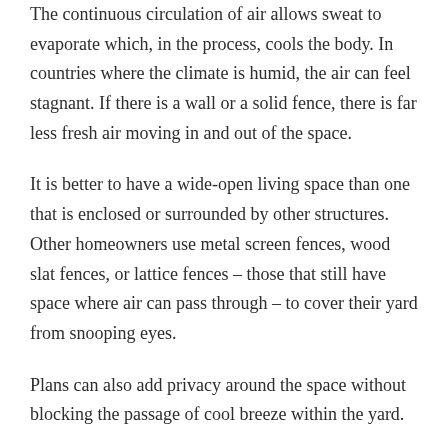The continuous circulation of air allows sweat to evaporate which, in the process, cools the body. In countries where the climate is humid, the air can feel stagnant. If there is a wall or a solid fence, there is far less fresh air moving in and out of the space.
It is better to have a wide-open living space than one that is enclosed or surrounded by other structures. Other homeowners use metal screen fences, wood slat fences, or lattice fences – those that still have space where air can pass through – to cover their yard from snooping eyes.
Plans can also add privacy around the space without blocking the passage of cool breeze within the yard.
Experts also recommend the use of overhead or pole-mounted fans. Fans ensure that the air is moving around the space.